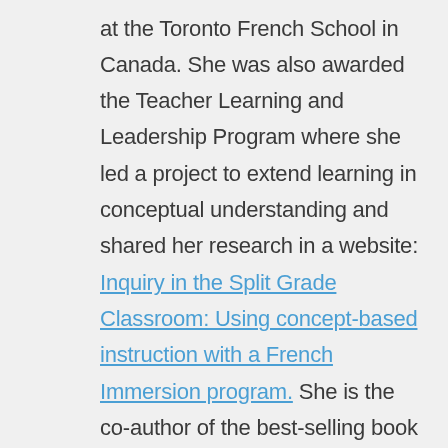lifelong learners. She previously served as the IBPYP coordinator at the Toronto French School in Canada. She was also awarded the Teacher Learning and Leadership Program where she led a project to extend learning in conceptual understanding and shared her research in a website: Inquiry in the Split Grade Classroom: Using concept-based instruction with a French Immersion program. She is the co-author of the best-selling book Tools for Teaching Conceptual Understanding, Elementary (2017). She is also a consultant for Learning for a Sustainable Future, based in Ontario, Canada, where she leads many workshops to encourage teachers to bring the curriculum outdoors.